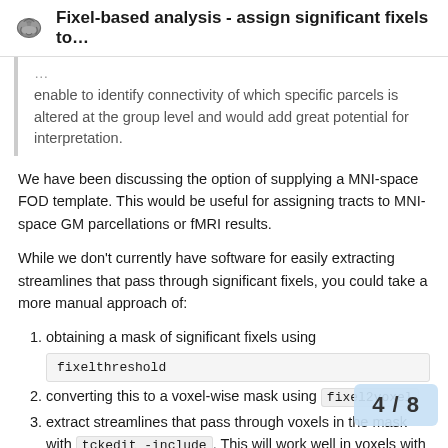Fixel-based analysis - assign significant fixels to...
enable to identify connectivity of which specific parcels is altered at the group level and would add great potential for interpretation.
We have been discussing the option of supplying a MNI-space FOD template. This would be useful for assigning tracts to MNI-space GM parcellations or fMRI results.
While we don't currently have software for easily extracting streamlines that pass through significant fixels, you could take a more manual approach of:
obtaining a mask of significant fixels using fixelthreshold
converting this to a voxel-wise mask using fixel2voxel
extract streamlines that pass through voxels in the mask with tckedit -include. This will work well in voxels with single fixels. However, if your sig voxels with multiple fixels, you could